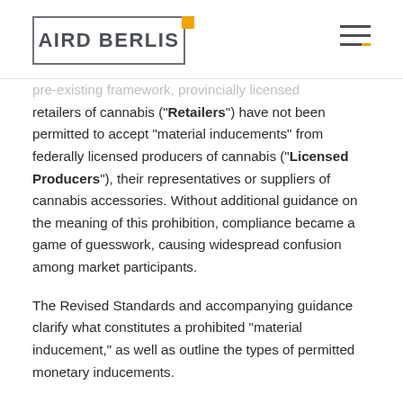AIRD BERLIS
pre-existing framework, provincially licensed retailers of cannabis (“Retailers”) have not been permitted to accept “material inducements” from federally licensed producers of cannabis (“Licensed Producers”), their representatives or suppliers of cannabis accessories. Without additional guidance on the meaning of this prohibition, compliance became a game of guesswork, causing widespread confusion among market participants.
The Revised Standards and accompanying guidance clarify what constitutes a prohibited “material inducement,” as well as outline the types of permitted monetary inducements.